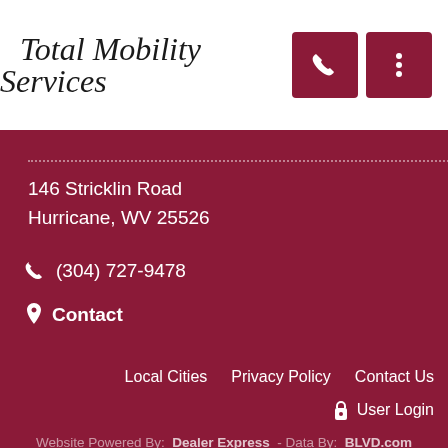Total Mobility Services
146 Stricklin Road
Hurricane, WV 25526
(304) 727-9478
Contact
Local Cities   Privacy Policy   Contact Us   User Login
Website Powered By: Dealer Express - Data By: BLVD.com